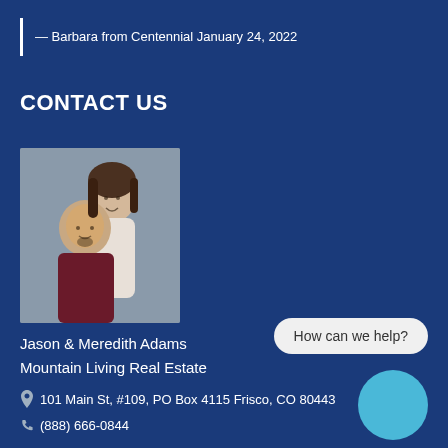— Barbara from Centennial January 24, 2022
CONTACT US
[Figure (photo): Photo of Jason and Meredith Adams, a man and woman posing together]
Jason & Meredith Adams
Mountain Living Real Estate
101 Main St, #109, PO Box 4115 Frisco, CO 80443
(888) 666-0844
How can we help?